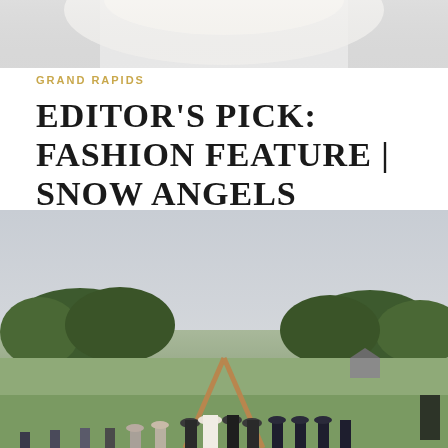[Figure (photo): Top portion of a photo showing what appears to be a person in a white dress or veil against a blurred background]
GRAND RAPIDS
EDITOR'S PICK: FASHION FEATURE | SNOW ANGELS
[Figure (photo): Outdoor wedding ceremony scene with wedding party standing under a triangular wooden arch on a green field, trees in background, overcast sky]